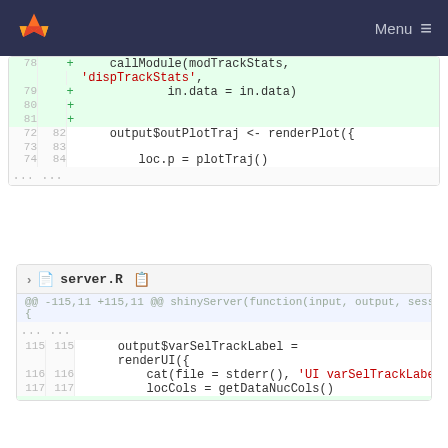GitLab — Menu
[Figure (screenshot): Code diff view showing added lines 78-81 with callModule(modTrackStats, 'dispTrackStats', in.data = in.data) and context lines 72-74/82-84 with output$outPlotTraj <- renderPlot({ and loc.p = plotTraj()]
[Figure (screenshot): server.R file diff section with @@ -115,11 +115,11 @@ shinyServer(function(input, output, session) { and lines 115-117 showing output$varSelTrackLabel = renderUI({, cat(file = stderr(), 'UI varSelTrackLabel\n'), locCols = getDataNucCols()]